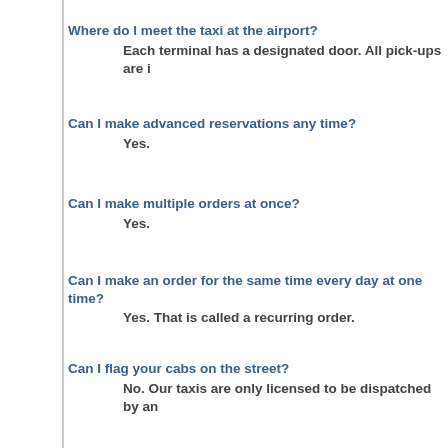Where do I meet the taxi at the airport?
    Each terminal has a designated door. All pick-ups are i...
Can I make advanced reservations any time?
    Yes.
Can I make multiple orders at once?
    Yes.
Can I make an order for the same time every day at one time?
    Yes. That is called a recurring order.
Can I flag your cabs on the street?
    No. Our taxis are only licensed to be dispatched by an ...
Are there illegal taxis imposing as your service?
    Yes, and unfortunately these taxis over charge by a lot. out our sign to take with you if you must use the kiosk.
Can I reserve the same cab for my pick-ups?
    No, however if you like a driver you may ask him if he is... know what to do.
Can I flag your taxi at the airports?
    No. All suburban taxis must be dispatched by pre-arran... before they enter the terminal pick up lanes.